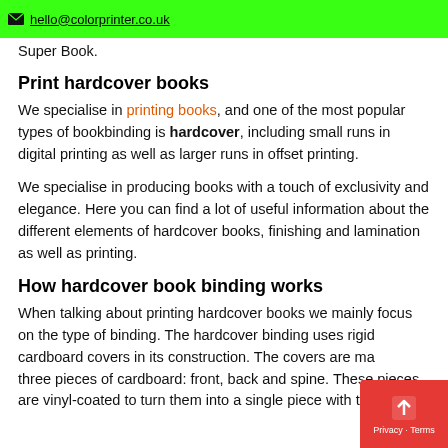✉ hello@colorprinter.co.uk
Super Book.
Print hardcover books
We specialise in printing books, and one of the most popular types of bookbinding is hardcover, including small runs in digital printing as well as larger runs in offset printing.
We specialise in producing books with a touch of exclusivity and elegance. Here you can find a lot of useful information about the different elements of hardcover books, finishing and lamination as well as printing.
How hardcover book binding works
When talking about printing hardcover books we mainly focus on the type of binding. The hardcover binding uses rigid cardboard covers in its construction. The covers are made of three pieces of cardboard: front, back and spine. These pieces are vinyl-coated to turn them into a single piece with the